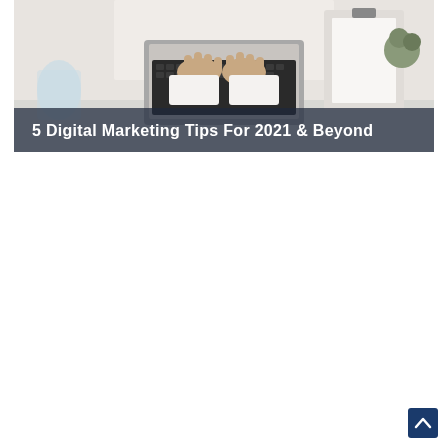[Figure (photo): Overhead photo of a person in white clothing typing on a laptop keyboard on a white desk, with a clipboard and pen visible to the right and a glass with spoon to the left. A dark semi-transparent banner overlays the bottom portion of the image with white text reading '5 Digital Marketing Tips For 2021 & Beyond'.]